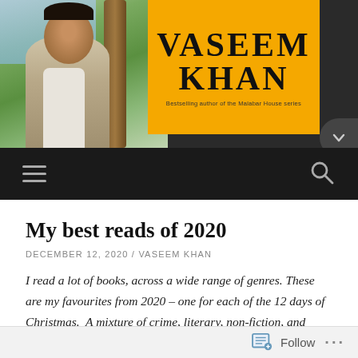[Figure (photo): Website header with a photo of Vaseem Khan on the left (man standing outdoors near a tree with greenery background) and a yellow panel on the right showing the author name VASEEM KHAN in large bold text with subtitle 'Bestselling author of the Malabar House series']
[Figure (screenshot): Black navigation bar with hamburger menu icon on left and search (magnifying glass) icon on right]
My best reads of 2020
DECEMBER 12, 2020 / VASEEM KHAN
I read a lot of books, across a wide range of genres. These are my favourites from 2020 – one for each of the 12 days of Christmas.  A mixture of crime, literary, non-fiction, and contemporary novels. Something for everyone!
Follow ...